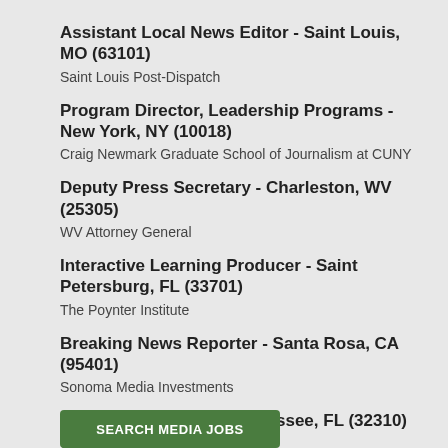Assistant Local News Editor - Saint Louis, MO (63101)
Saint Louis Post-Dispatch
Program Director, Leadership Programs - New York, NY (10018)
Craig Newmark Graduate School of Journalism at CUNY
Deputy Press Secretary - Charleston, WV (25305)
WV Attorney General
Interactive Learning Producer - Saint Petersburg, FL (33701)
The Poynter Institute
Breaking News Reporter - Santa Rosa, CA (95401)
Sonoma Media Investments
Content Producer - Tallahassee, FL (32310)
WFSU Public Radio